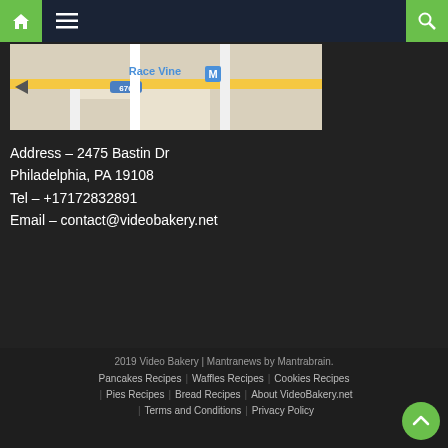Navigation bar with home, menu, and search icons
[Figure (map): Street map showing Race Vine area with route 676, metro station marker]
Address – 2475 Bastin Dr
Philadelphia, PA 19108
Tel – +17172832891
Email – contact@videobakery.net
2019 Video Bakery | Mantranews by Mantrabrain.
Pancakes Recipes | Waffles Recipes | Cookies Recipes | Pies Recipes | Bread Recipes | About VideoBakery.net | Terms and Conditions | Privacy Policy